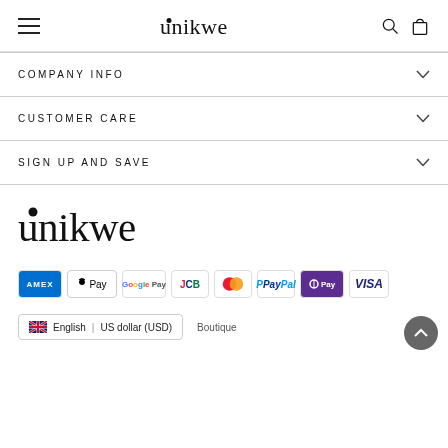[Figure (logo): Unikwe brand logo in header with hamburger menu, search and cart icons]
COMPANY INFO
CUSTOMER CARE
SIGN UP AND SAVE
[Figure (logo): Large Unikwe brand logo in footer area]
[Figure (other): Payment method icons: AMEX, Apple Pay, Google Pay, JCB, Mastercard, PayPal, OPay, Visa]
English | US dollar (USD)  Boutique